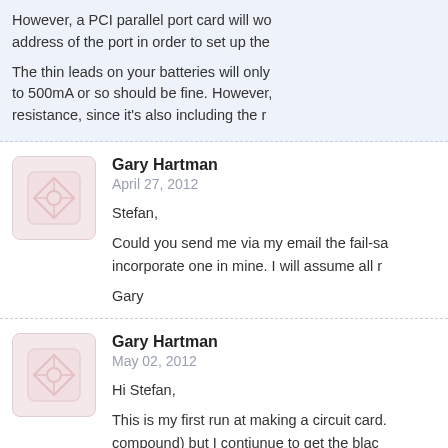However, a PCI parallel port card will wo address of the port in order to set up the

The thin leads on your batteries will only to 500mA or so should be fine. However, resistance, since it's also including the r
Gary Hartman
April 27, 2012

Stefan,

Could you send me via my email the fail-sa incorporate one in mine. I will assume all r

Gary
Gary Hartman
May 02, 2012

Hi Stefan,

This is my first run at making a circuit card. compound) but I contiunue to get the blac I damage the copper suface by over cleanir